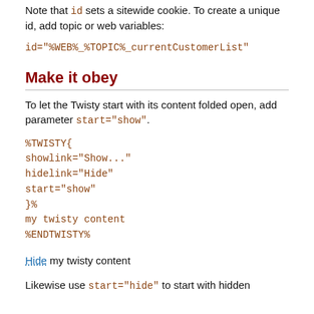Note that id sets a sitewide cookie. To create a unique id, add topic or web variables:
id="%WEB%_%TOPIC%_currentCustomerList"
Make it obey
To let the Twisty start with its content folded open, add parameter start="show".
%TWISTY{
showlink="Show..."
hidelink="Hide"
start="show"
}%
my twisty content
%ENDTWISTY%
Hide my twisty content
Likewise use start="hide" to start with hidden